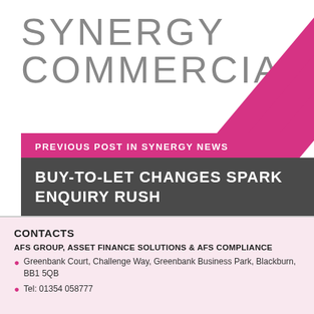[Figure (logo): Synergy Commercial logo with grey text 'SYNERGY COMMERCIAL' and pink diagonal stripe graphic on the right]
PREVIOUS POST IN SYNERGY NEWS
BUY-TO-LET CHANGES SPARK ENQUIRY RUSH
CONTACTS
AFS GROUP, ASSET FINANCE SOLUTIONS & AFS COMPLIANCE
Greenbank Court, Challenge Way, Greenbank Business Park, Blackburn, BB1 5QB
Tel: 01254 058777